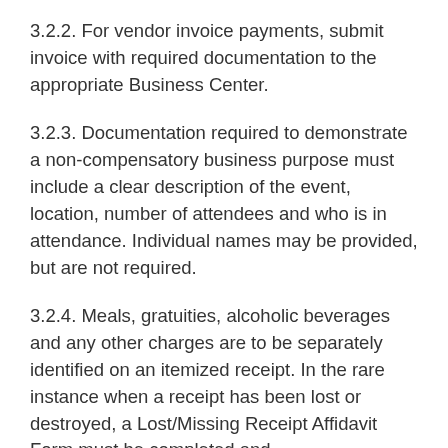3.2.2. For vendor invoice payments, submit invoice with required documentation to the appropriate Business Center.
3.2.3. Documentation required to demonstrate a non-compensatory business purpose must include a clear description of the event, location, number of attendees and who is in attendance. Individual names may be provided, but are not required.
3.2.4. Meals, gratuities, alcoholic beverages and any other charges are to be separately identified on an itemized receipt. In the rare instance when a receipt has been lost or destroyed, a Lost/Missing Receipt Affidavit Form must be completed and